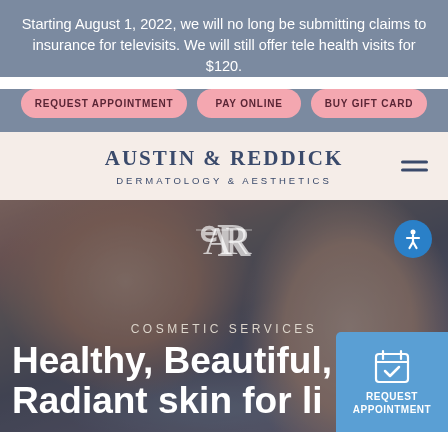Starting August 1, 2022, we will no long be submitting claims to insurance for televisits. We will still offer tele health visits for $120.
REQUEST APPOINTMENT
PAY ONLINE
BUY GIFT CARD
AUSTIN & REDDICK DERMATOLOGY & AESTHETICS
[Figure (photo): A dermatologist or aesthetician performing a cosmetic treatment on a patient's face, with overlay text reading COSMETIC SERVICES and Healthy, Beautiful, Radiant skin for li...]